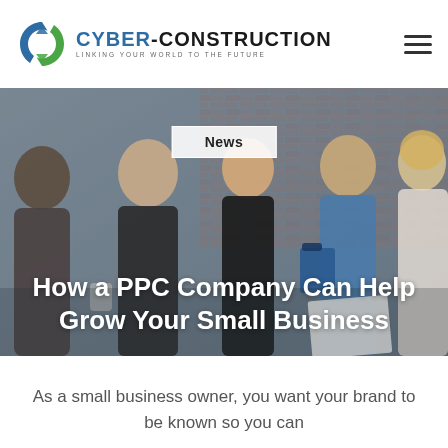CYBER-CONSTRUCTION — LINKING YOUR WORLD TO THE FUTURE
[Figure (photo): Group of business professionals in an office setting with brick wall background, looking at documents and smiling]
News
How a PPC Company Can Help Grow Your Small Business
As a small business owner, you want your brand to be known so you can